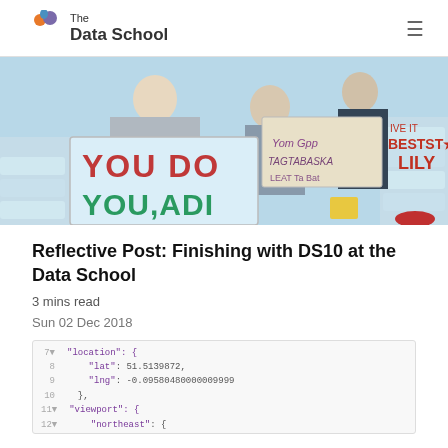The Data School
[Figure (photo): People in stadium seats holding signs. Signs read 'YOU DO YOU, ADI' in red/green letters and 'BEST STAB LILY' in red letters on cardboard.]
Reflective Post: Finishing with DS10 at the Data School
3 mins read
Sun 02 Dec 2018
[Figure (screenshot): Code editor screenshot showing JSON with location data including lat/lng coordinates and viewport northeast/southwest bounds.]